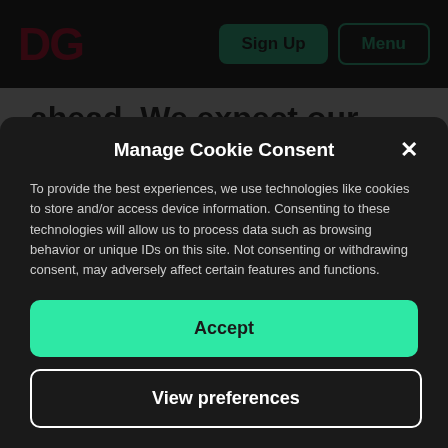DG | Sign Up | Menu
ahead. We expect our DE&I program to evolve over time include a variety of events and resources for Deepgram team members as well as commitments to
Manage Cookie Consent
To provide the best experiences, we use technologies like cookies to store and/or access device information. Consenting to these technologies will allow us to process data such as browsing behavior or unique IDs on this site. Not consenting or withdrawing consent, may adversely affect certain features and functions.
Accept
View preferences